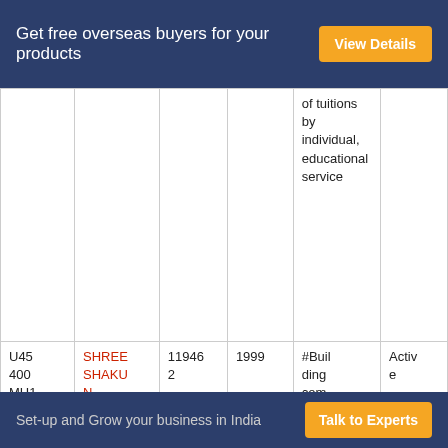Get free overseas buyers for your products | View Details
|  |  |  |  | of tuitions by individual, educational service |  |
| U45400MH1999PTC1194... | SHREE SHAKUN REALTY PRIVAT... LIMITE... | 119462 | 1999 | #Building completion | Active |
Set-up and Grow your business in India | Talk to Experts